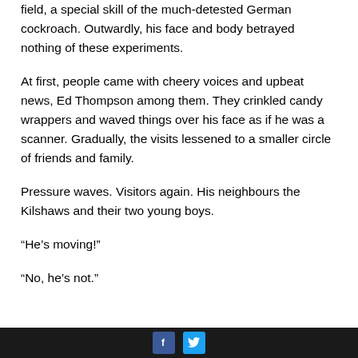field, a special skill of the much-detested German cockroach. Outwardly, his face and body betrayed nothing of these experiments.
At first, people came with cheery voices and upbeat news, Ed Thompson among them. They crinkled candy wrappers and waved things over his face as if he was a scanner. Gradually, the visits lessened to a smaller circle of friends and family.
Pressure waves. Visitors again. His neighbours the Kilshaws and their two young boys.
“He’s moving!”
“No, he’s not.”
Facebook Twitter social icons